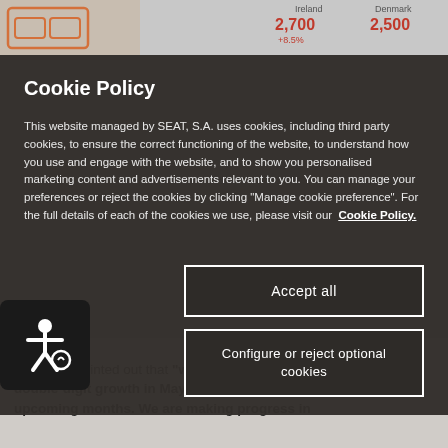Cookie Policy
This website managed by SEAT, S.A. uses cookies, including third party cookies, to ensure the correct functioning of the website, to understand how you use and engage with the website, and to show you personalised marketing content and advertisements relevant to you. You can manage your preferences or reject the cookies by clicking "Manage cookie preference". For the full details of each of the cookies we use, please visit our Cookie Policy.
Accept all
Configure or reject optional cookies
e Griffiths pointed out that "we are especially pleased with our double-digit growth in May and aim to keep this trend rate in upcoming months. We are making progress in